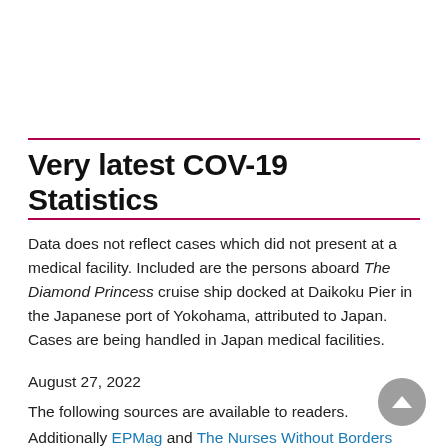Very latest COV-19 Statistics
Data does not reflect cases which did not present at a medical facility. Included are the persons aboard The Diamond Princess cruise ship docked at Daikoku Pier in the Japanese port of Yokohama, attributed to Japan. Cases are being handled in Japan medical facilities.
August 27, 2022
The following sources are available to readers.
Additionally EPMag and The Nurses Without Borders make